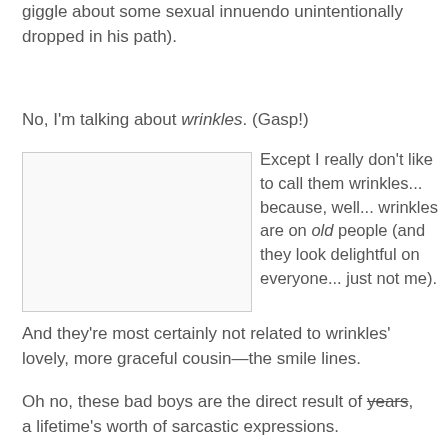giggle about some sexual innuendo unintentionally dropped in his path).
No, I'm talking about wrinkles. (Gasp!)
[Figure (photo): A blank/white rectangular image placeholder with a light border.]
Except I really don't like to call them wrinkles... because, well... wrinkles are on old people (and they look delightful on everyone... just not me).
And they're most certainly not related to wrinkles' lovely, more graceful cousin—the smile lines.
Oh no, these bad boys are the direct result of years, a lifetime's worth of sarcastic expressions.